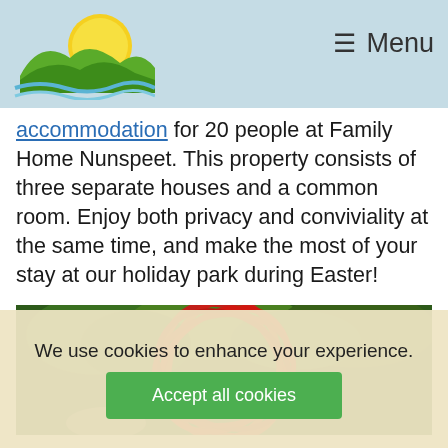Menu
accommodation for 20 people at Family Home Nunspeet. This property consists of three separate houses and a common room. Enjoy both privacy and conviviality at the same time, and make the most of your stay at our holiday park during Easter!
[Figure (photo): Outdoor photo showing red hoop/sculpture against green trees background]
We use cookies to enhance your experience.
Accept all cookies